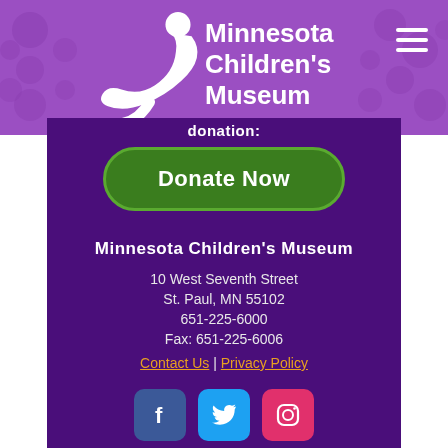Minnesota Children's Museum
donation:
Donate Now
Minnesota Children's Museum
10 West Seventh Street
St. Paul, MN 55102
651-225-6000
Fax: 651-225-6006
Contact Us | Privacy Policy